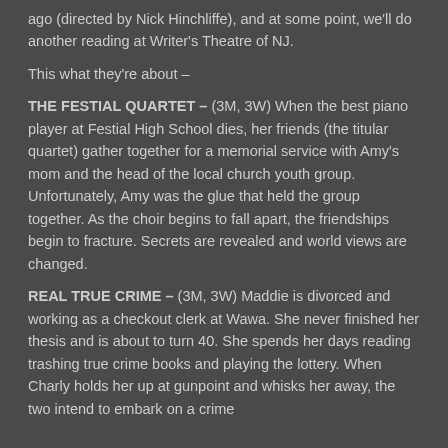ago (directed by Nick Hinchliffe), and at some point, we'll do another reading at Writer's Theatre of NJ.
This what they're about –
THE FESTIAL QUARTET – (3M, 3W) When the best piano player at Festial High School dies, her friends (the titular quartet) gather together for a memorial service with Amy's mom and the head of the local church youth group. Unfortunately, Amy was the glue that held the group together. As the choir begins to fall apart, the friendships begin to fracture. Secrets are revealed and world views are changed.
REAL TRUE CRIME – (3M, 3W) Maddie is divorced and working as a checkout clerk at Wawa. She never finished her thesis and is about to turn 40. She spends her days reading trashing true crime books and playing the lottery. When Charly holds her up at gunpoint and whisks her away, the two intend to embark on a crime